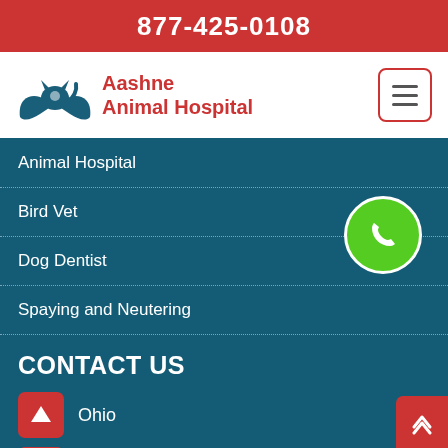877-425-0108
[Figure (logo): Aashne Animal Hospital logo with teal hands holding a cat/dog silhouette]
Aashne Animal Hospital
Animal Hospital
Bird Vet
Dog Dentist
Spaying and Neutering
CONTACT US
Ohio
877-425-0108